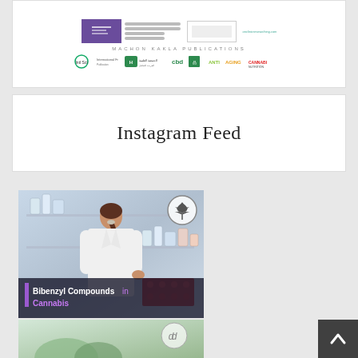[Figure (screenshot): Top banner showing a publication header with logos including a purple journal icon, Arabic text logos, CBD logo in green, and other publisher logos on white background]
Instagram Feed
[Figure (photo): Photo of a female scientist in a white lab coat working at a laboratory bench with glass bottles and red sample containers. Overlaid with a cannabis leaf circle icon in top right. Bottom overlay bar reads 'Bibenzyl Compounds in Cannabis' with purple accent.]
Bibenzyl Compounds in Cannabis
[Figure (photo): Partially visible second Instagram feed image showing a green/nature themed image with a circular icon overlay]